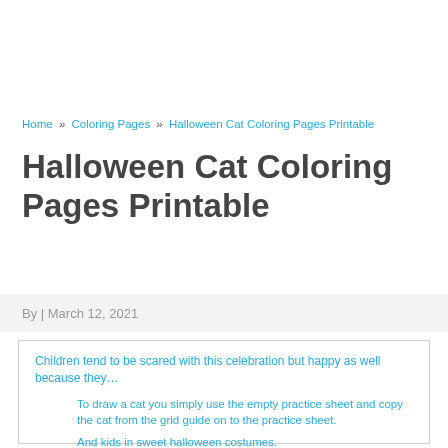Home » Coloring Pages » Halloween Cat Coloring Pages Printable
Halloween Cat Coloring Pages Printable
By | March 12, 2021
Children tend to be scared with this celebration but happy as well because they…
To draw a cat you simply use the empty practice sheet and copy the cat from the grid guide on to the practice sheet.
And kids in sweet halloween costumes.
And kids in sweet halloween costumes.